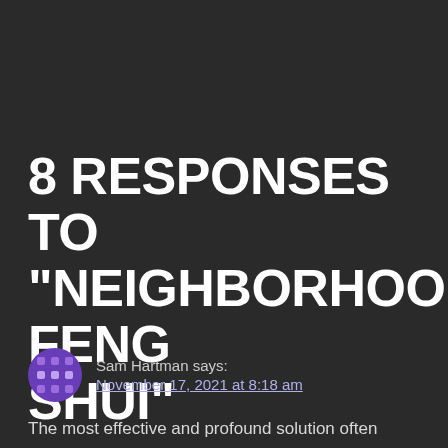8 RESPONSES TO “NEIGHBORHOOD FENG SHUI”
Sam Hartman says: November 17, 2021 at 8:18 am
The most effective and profound solution often turns out to be the most simple and the most...